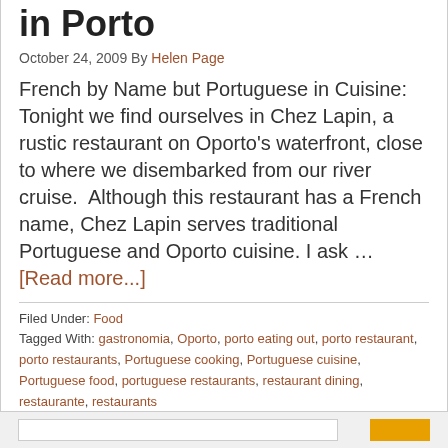in Porto
October 24, 2009 By Helen Page
French by Name but Portuguese in Cuisine: Tonight we find ourselves in Chez Lapin, a rustic restaurant on Oporto's waterfront, close to where we disembarked from our river cruise.  Although this restaurant has a French name, Chez Lapin serves traditional Portuguese and Oporto cuisine. I ask … [Read more...]
Filed Under: Food
Tagged With: gastronomia, Oporto, porto eating out, porto restaurant, porto restaurants, Portuguese cooking, Portuguese cuisine, Portuguese food, portuguese restaurants, restaurant dining, restaurante, restaurants